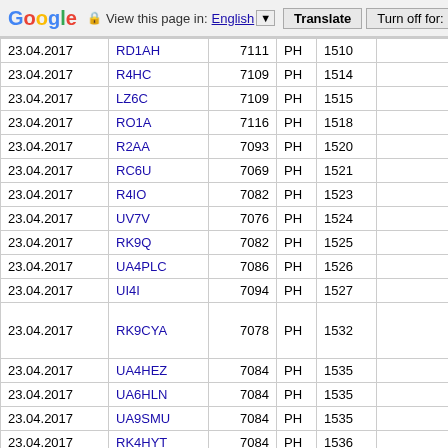Google   View this page in: English ▼   Translate   Turn off for: R
| Date | Callsign | Freq | Mode | Num |  |
| --- | --- | --- | --- | --- | --- |
| 23.04.2017 | RD1AH | 7111 | PH | 1510 |  |
| 23.04.2017 | R4HC | 7109 | PH | 1514 |  |
| 23.04.2017 | LZ6C | 7109 | PH | 1515 |  |
| 23.04.2017 | RO1A | 7116 | PH | 1518 |  |
| 23.04.2017 | R2AA | 7093 | PH | 1520 |  |
| 23.04.2017 | RC6U | 7069 | PH | 1521 |  |
| 23.04.2017 | R4IO | 7082 | PH | 1523 |  |
| 23.04.2017 | UV7V | 7076 | PH | 1524 |  |
| 23.04.2017 | RK9Q | 7082 | PH | 1525 |  |
| 23.04.2017 | UA4PLC | 7086 | PH | 1526 |  |
| 23.04.2017 | UI4I | 7094 | PH | 1527 |  |
| 23.04.2017 | RK9CYA | 7078 | PH | 1532 |  |
| 23.04.2017 | UA4HEZ | 7084 | PH | 1535 |  |
| 23.04.2017 | UA6HLN | 7084 | PH | 1535 |  |
| 23.04.2017 | UA9SMU | 7084 | PH | 1535 |  |
| 23.04.2017 | RK4HYT | 7084 | PH | 1536 |  |
| 23.04.2017 | R2GB | 7084 | PH | 1537 |  |
| 23.04.2017 | RT9TM | 7084 | PH | 1537 |  |
| 23.04.2017 | UA9SES | 7084 | PH | 1537 |  |